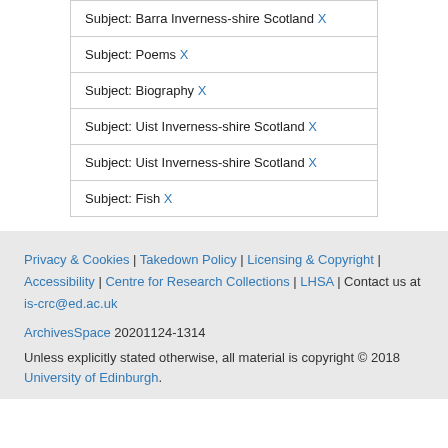Subject: Barra Inverness-shire Scotland X
Subject: Poems X
Subject: Biography X
Subject: Uist Inverness-shire Scotland X
Subject: Uist Inverness-shire Scotland X
Subject: Fish X
Privacy & Cookies | Takedown Policy | Licensing & Copyright | Accessibility | Centre for Research Collections | LHSA | Contact us at is-crc@ed.ac.uk
ArchivesSpace 20201124-1314
Unless explicitly stated otherwise, all material is copyright © 2018 University of Edinburgh.